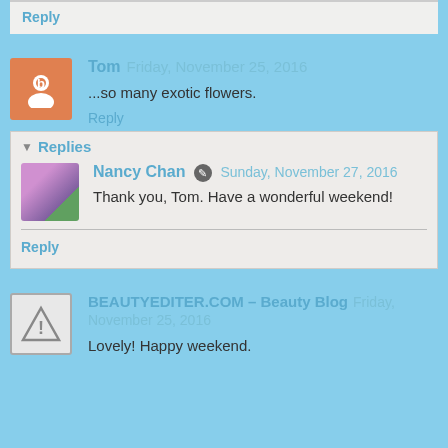Reply
Tom  Friday, November 25, 2016
...so many exotic flowers.
Reply
Replies
Nancy Chan  Sunday, November 27, 2016
Thank you, Tom. Have a wonderful weekend!
Reply
BEAUTYEDITER.COM – Beauty Blog  Friday, November 25, 2016
Lovely! Happy weekend.